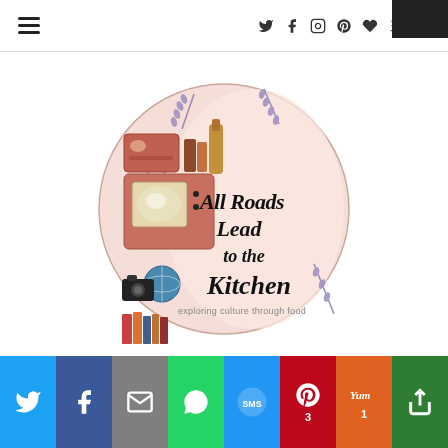Navigation bar with hamburger menu and social icons
[Figure (logo): Circular logo for 'All Roads Lead to the Kitchen - exploring culture through food' featuring illustrated vintage TV, books, radio, globe, camera, bottle, and lavender sprigs on a pink background]
[Figure (infographic): Bottom social sharing bar with Twitter, Facebook, Email, WhatsApp, SMS, Pinterest (3), Yummly (1), and More buttons]